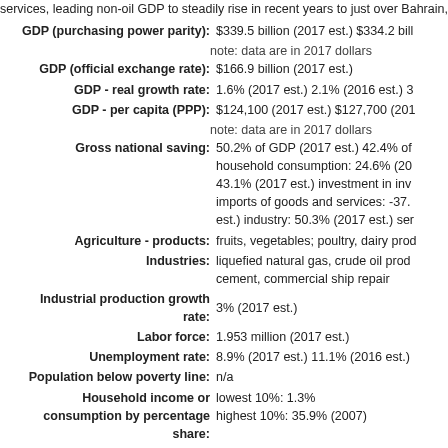services, leading non-oil GDP to steadily rise in recent years to just over Bahrain, and Egypt in 2017, Qatar established new trade routes with othe
GDP (purchasing power parity): $339.5 billion (2017 est.) $334.2 bill
note: data are in 2017 dollars
GDP (official exchange rate): $166.9 billion (2017 est.)
GDP - real growth rate: 1.6% (2017 est.) 2.1% (2016 est.) 3
GDP - per capita (PPP): $124,100 (2017 est.) $127,700 (201
note: data are in 2017 dollars
Gross national saving: 50.2% of GDP (2017 est.) 42.4% of household consumption: 24.6% (20 43.1% (2017 est.) investment in inv imports of goods and services: -37. est.) industry: 50.3% (2017 est.) ser
Agriculture - products: fruits, vegetables; poultry, dairy prod
Industries: liquefied natural gas, crude oil prod cement, commercial ship repair
Industrial production growth rate: 3% (2017 est.)
Labor force: 1.953 million (2017 est.)
Unemployment rate: 8.9% (2017 est.) 11.1% (2016 est.)
Population below poverty line: n/a
Household income or consumption by percentage share: lowest 10%: 1.3% highest 10%: 35.9% (2007)
Distribution of family income -